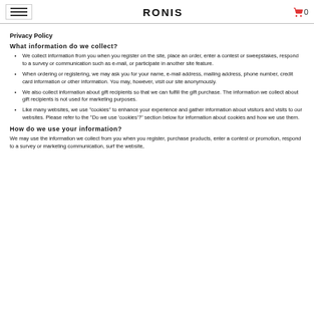RONIS
Privacy Policy
What information do we collect?
We collect information from you when you register on the site, place an order, enter a contest or sweepstakes, respond to a survey or communication such as e-mail, or participate in another site feature.
When ordering or registering, we may ask you for your name, e-mail address, mailing address, phone number, credit card information or other information. You may, however, visit our site anonymously.
We also collect information about gift recipients so that we can fulfill the gift purchase. The information we collect about gift recipients is not used for marketing purposes.
Like many websites, we use "cookies" to enhance your experience and gather information about visitors and visits to our websites. Please refer to the "Do we use 'cookies'?" section below for information about cookies and how we use them.
How do we use your information?
We may use the information we collect from you when you register, purchase products, enter a contest or promotion, respond to a survey or marketing communication, surf the website,